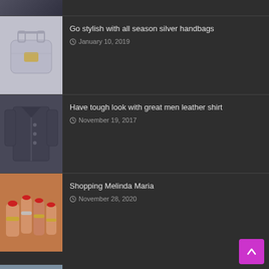[Figure (photo): Partial view of a dark lace/fabric top - cropped at page top]
Go stylish with all season silver handbags
January 10, 2019
Have tough look with great men leather shirt
November 19, 2017
Shopping Melinda Maria
November 28, 2020
Crochet mittens- Keep Your Hands Warm & Cozy!!!
October 4, 2017
Boutique Dresses Are Getting Popular
November 23, 2018